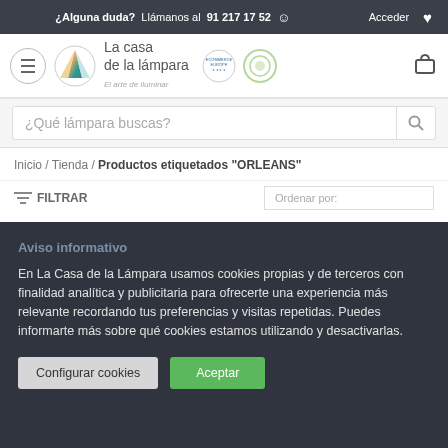¿Alguna duda? Llámanos al 91 217 17 52 😊   Acceder ♥
[Figure (logo): La casa de la lámpara logo with colorful triangle icon, ecommerce europe and confianza online badges, hamburger menu and cart icon]
¿Qué lámpara buscas?
Inicio / Tienda / Productos etiquetados "ORLEANS"
FILTRAR
Aviso informativo
En La Casa de la Lámpara usamos cookies propias y de terceros con finalidad analítica y publicitaria para ofrecerte una experiencia más relevante recordando tus preferencias y visitas repetidas. Puedes informarte más sobre qué cookies estamos utilizando y desactivarlas.
Configurar cookies   Aceptar